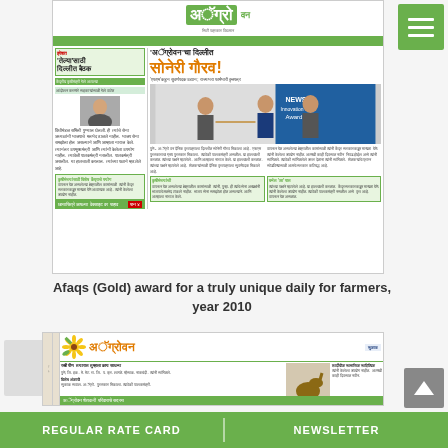[Figure (screenshot): Screenshot of Agrowon Marathi newspaper front page showing headlines in Marathi script including 'Agrowon' logo, headlines about Delhi meeting, and a photo of people shaking hands at an award ceremony. Green banner at top and bottom.]
Afaqs (Gold) award for a truly unique daily for farmers, year 2010
[Figure (screenshot): Second screenshot of Agrowon Marathi newspaper showing logo with sunflower, Marathi headlines, and a photo of a horse/cow.]
REGULAR RATE CARD    NEWSLETTER